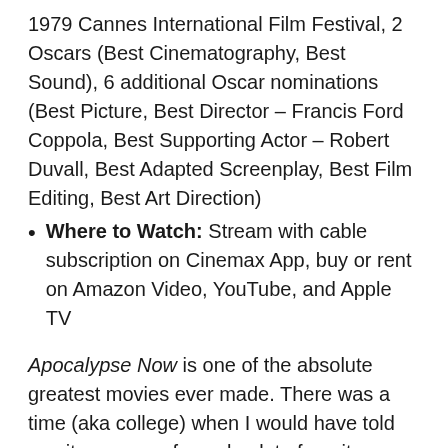1979 Cannes International Film Festival, 2 Oscars (Best Cinematography, Best Sound), 6 additional Oscar nominations (Best Picture, Best Director – Francis Ford Coppola, Best Supporting Actor – Robert Duvall, Best Adapted Screenplay, Best Film Editing, Best Art Direction)
Where to Watch: Stream with cable subscription on Cinemax App, buy or rent on Amazon Video, YouTube, and Apple TV
Apocalypse Now is one of the absolute greatest movies ever made. There was a time (aka college) when I would have told you it was one of my absolute favorite movies. I don't think “favorite” is a word I would use anymore, but it's hard for me